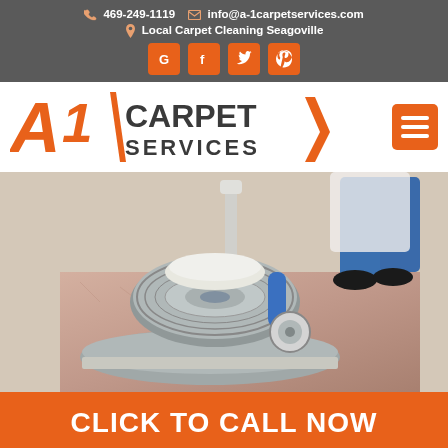469-249-1119  info@a-1carpetservices.com  Local Carpet Cleaning Seagoville
[Figure (logo): A1 Carpet Services logo with orange A1 and dark grey CARPET SERVICES text]
[Figure (photo): Carpet cleaning machine/buffer on a patterned carpet with a technician in blue uniform visible in background]
CLICK TO CALL NOW